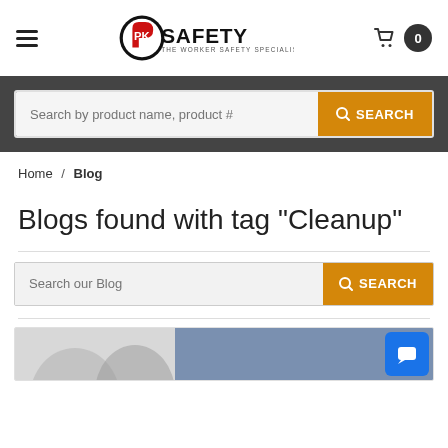PK Safety – The Worker Safety Specialists
Search by product name, product #
Home / Blog
Blogs found with tag "Cleanup"
Search our Blog
[Figure (screenshot): Partial blog listing card with grey and blue-grey sections at the bottom of the page]